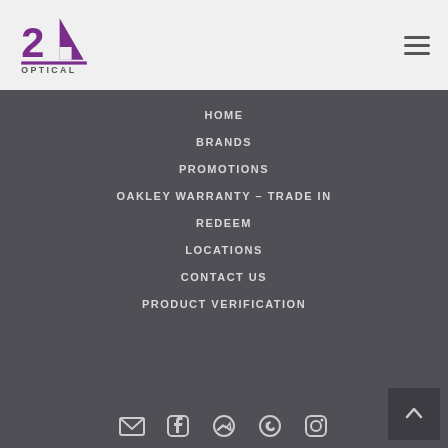[Figure (logo): 2A Optical logo with purple stylized '2A' text and 'OPTICAL' beneath]
HOME
BRANDS
PROMOTIONS
OAKLEY WARRANTY – TRADE IN
REDEEM
LOCATIONS
CONTACT US
PRODUCT VERIFICATION
[Figure (infographic): Social media icons row: email, Facebook, Messenger, phone, Instagram]